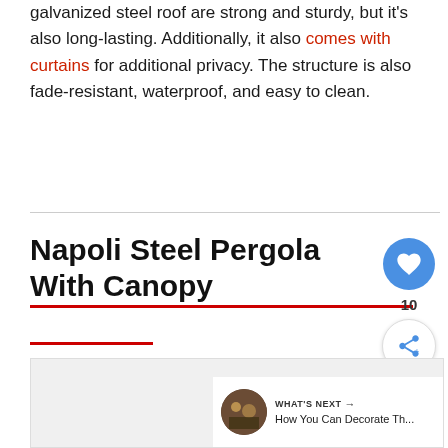galvanized steel roof are strong and sturdy, but it's also long-lasting. Additionally, it also comes with curtains for additional privacy. The structure is also fade-resistant, waterproof, and easy to clean.
Napoli Steel Pergola With Canopy
[Figure (photo): Partial image placeholder for Napoli Steel Pergola With Canopy product photo]